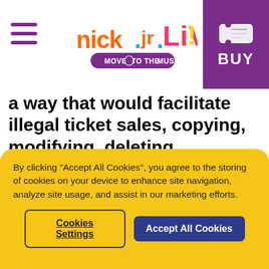Nick Jr. LIVE! Move to the Music
a way that would facilitate illegal ticket sales, copying, modifying, deleting, augmenting, publishing, transmitting, creating derivative works of, creating or selling merchandise derived from our Content or in any other way exploit our Content, in whole or in part; or (ii) using any automatic device, program, algorithm or methodology, or any similar or equivalent manual process, to illegally gain access, acquire, copy or monitor any portion of this Website
By clicking "Accept All Cookies", you agree to the storing of cookies on your device to enhance site navigation, analyze site usage, and assist in our marketing efforts.